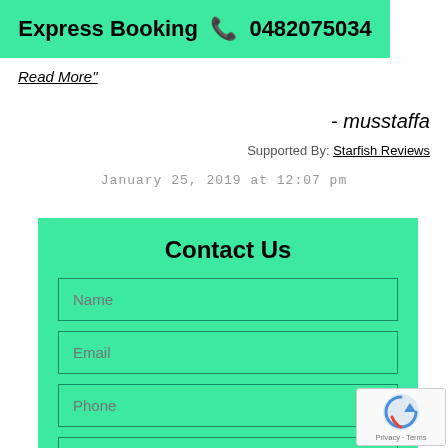Express Booking 📞 0482075034
Read More"
- musstaffa
Supported By: Starfish Reviews
January 25, 2019 at 12:07 pm
Contact Us
Name
Email
Phone
Job Address